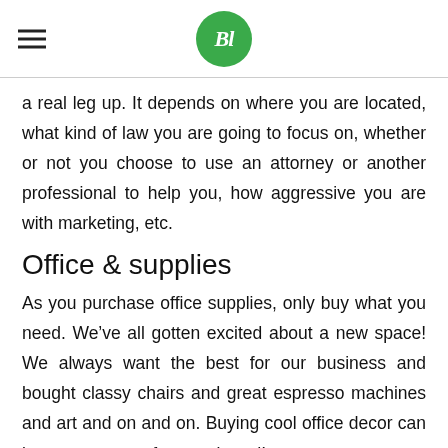Bl
a real leg up. It depends on where you are located, what kind of law you are going to focus on, whether or not you choose to use an attorney or another professional to help you, how aggressive you are with marketing, etc.
Office & supplies
As you purchase office supplies, only buy what you need. We've all gotten excited about a new space! We always want the best for our business and bought classy chairs and great espresso machines and art and on and on. Buying cool office decor can be a great asset for your brand!